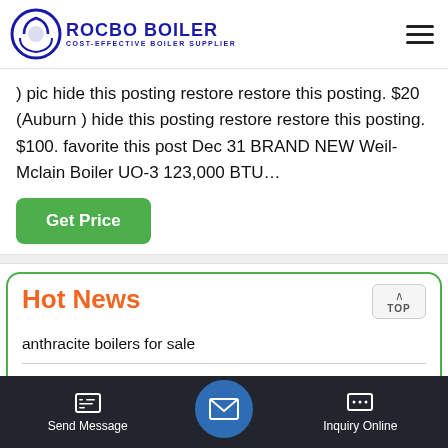[Figure (logo): Rocbo Boiler logo with circular icon and text 'ROCBO BOILER - COST-EFFECTIVE BOILER SUPPLIER']
) pic hide this posting restore restore this posting. $20 (Auburn ) hide this posting restore restore this posting. $100. favorite this post Dec 31 BRAND NEW Weil-Mclain Boiler UO-3 123,000 BTU…
Get Price
Hot News
anthracite boilers for sale
industrial gas fired fire tube steam boiler supplier in south
Send Message   Inquiry Online